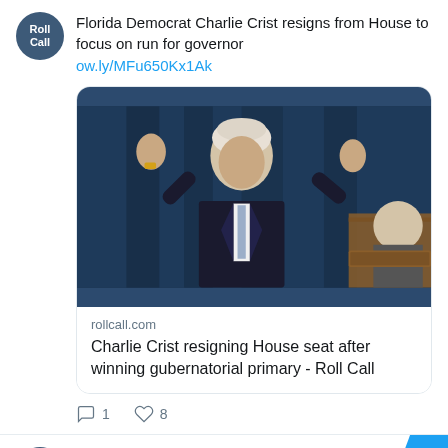Florida Democrat Charlie Crist resigns from House to focus on run for governor
ow.ly/MFu650Kx1Ak
[Figure (photo): Photo of Charlie Crist gesturing with both hands raised, wearing a dark suit and light blue tie, at what appears to be a congressional hearing. Another person is partially visible to the right.]
rollcall.com
Charlie Crist resigning House seat after winning gubernatorial primary - Roll Call
1  8
Roll Call @rollcall · 5h
In Pennsylvania, the rating has changed from Tilt Republican to Toss-up. In Ohio, the rating has changed from Solid Republican to Likely